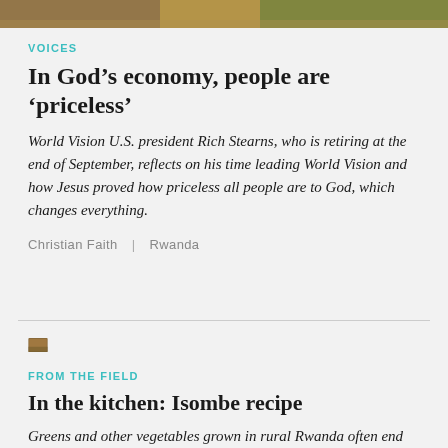[Figure (photo): Top portion of an outdoor photo showing people, partially cropped at top of page]
VOICES
In God’s economy, people are ‘priceless’
World Vision U.S. president Rich Stearns, who is retiring at the end of September, reflects on his time leading World Vision and how Jesus proved how priceless all people are to God, which changes everything.
Christian Faith  |  Rwanda
[Figure (photo): Small thumbnail image for second article]
FROM THE FIELD
In the kitchen: Isombe recipe
Greens and other vegetables grown in rural Rwanda often end up combined with peanut butter in a dish called